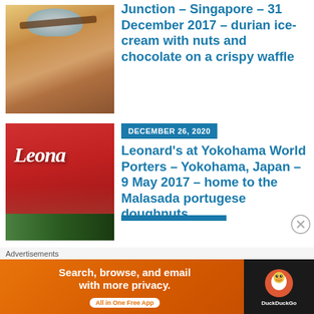[Figure (photo): Waffle topped with durian ice-cream, nuts and chocolate sauce on a plate]
Junction – Singapore – 31 December 2017 – durian ice-cream with nuts and chocolate on a crispy waffle
[Figure (photo): Leonard's bakery store front with red sign and script logo, people inside]
DECEMBER 26, 2020
Leonard's at Yokohama World Porters – Yokohama, Japan – 9 May 2017 – home to the Malasada portugese doughnuts
[Figure (photo): Partial image of a third article, partially visible at bottom]
Advertisements
[Figure (infographic): DuckDuckGo advertisement banner: Search, browse, and email with more privacy. All in One Free App]